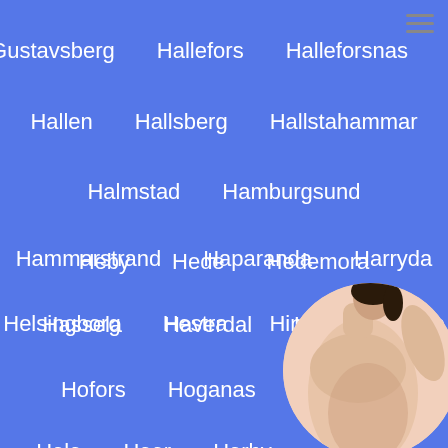Gustavsberg
Hallefors
Halleforsnas
Hallen
Hallsberg
Hallstahammar
Halmstad
Hamburgsund
Hammarstrand
Haparanda
Harryda
Hassela
Haverdal
Havsbaden
Heby
Hede
Hedemora
Helsingborg
Hestra
Hindas
Hjarup
Hofors
Hoganas
Hollviken
Holo
Hoor
Horby
Hudiksvall
Hultafors
H...
[Figure (photo): Circular cropped photo of a woman (torso), overlaid in the bottom-right corner of the page]